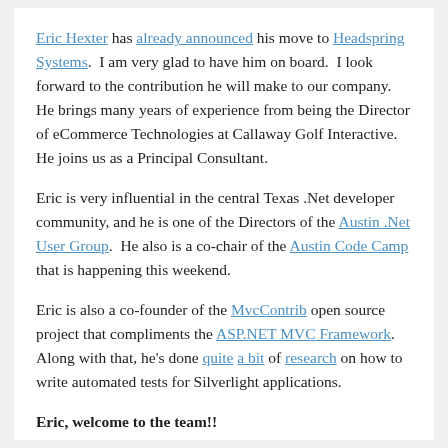Eric Hexter has already announced his move to Headspring Systems.  I am very glad to have him on board.  I look forward to the contribution he will make to our company.  He brings many years of experience from being the Director of eCommerce Technologies at Callaway Golf Interactive.  He joins us as a Principal Consultant.
Eric is very influential in the central Texas .Net developer community, and he is one of the Directors of the Austin .Net User Group.  He also is a co-chair of the Austin Code Camp that is happening this weekend.
Eric is also a co-founder of the MvcContrib open source project that compliments the ASP.NET MVC Framework.  Along with that, he's done quite a bit of research on how to write automated tests for Silverlight applications.
Eric, welcome to the team!!